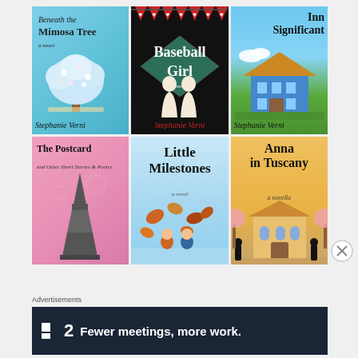[Figure (illustration): Grid of 6 book covers by Stephanie Verni: Beneath the Mimosa Tree, Baseball Girl, Inn Significant, The Postcard and Other Short Stories & Poetry, Little Milestones, Anna in Tuscany]
Advertisements
[Figure (other): Advertisement banner: Fewer meetings, more work. (with logo icon and number 2)]